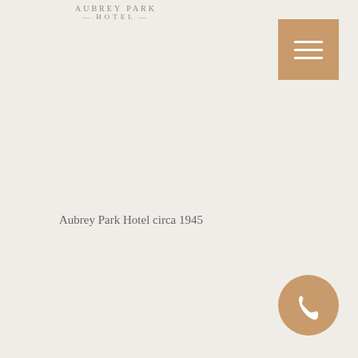HOTEL
[Figure (logo): Aubrey Park Hotel logo with hotel name above and HOTEL text with decorative dashes below]
[Figure (other): Golden/tan hamburger menu button (three horizontal white lines on tan square background) in top right corner]
Aubrey Park Hotel circa 1945
[Figure (other): Golden/tan circular phone icon button in bottom right corner]